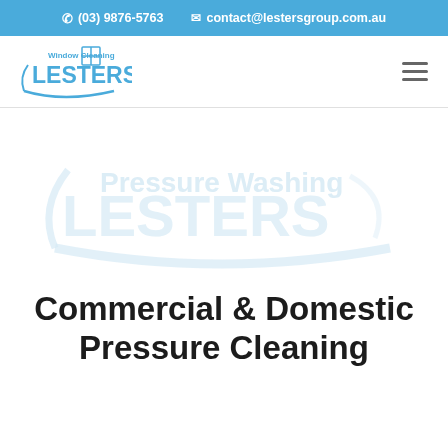(03) 9876-5763  contact@lestersgroup.com.au
[Figure (logo): Lesters Window Cleaning logo with blue text and swoosh graphic]
[Figure (logo): Lesters Pressure Washing watermark logo in light blue/grey, faded background watermark]
Commercial & Domestic Pressure Cleaning